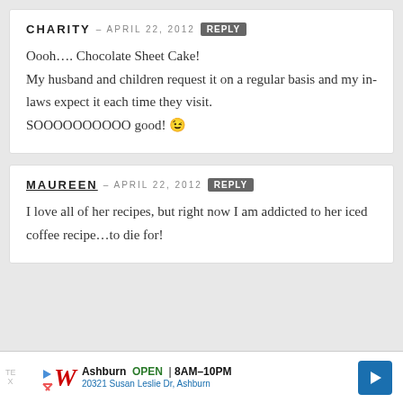CHARITY — APRIL 22, 2012  REPLY
Oooh…. Chocolate Sheet Cake!
My husband and children request it on a regular basis and my in-laws expect it each time they visit.
SOOOOOOOOO good! 🙂
MAUREEN — APRIL 22, 2012  REPLY
I love all of her recipes, but right now I am addicted to her iced coffee recipe…to die for!
[Figure (other): Walgreens advertisement banner showing Ashburn store open 8AM-10PM at 20321 Susan Leslie Dr, Ashburn]